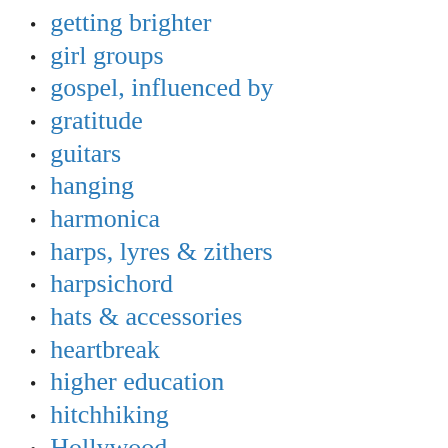getting brighter
girl groups
gospel, influenced by
gratitude
guitars
hanging
harmonica
harps, lyres & zithers
harpsichord
hats & accessories
heartbreak
higher education
hitchhiking
Hollywood
honorific titles
horizons